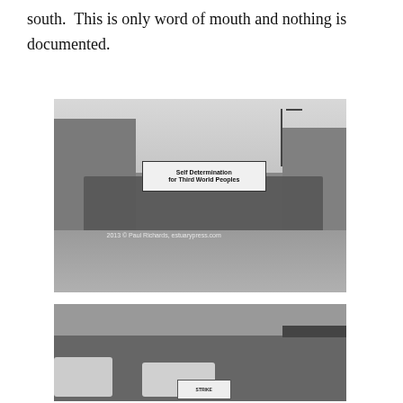south.  This is only word of mouth and nothing is documented.
[Figure (photo): Black and white photograph of a protest march on a city street. Marchers carry signs and a prominent banner reading 'Self Determination for Third World Peoples'. A street lamp is visible in the background. Watermark reads '2013 © Paul Richards, estuarypress.com'.]
[Figure (photo): Black and white photograph of a large crowd gathered on a city street. Parked and moving cars are visible. A sign reading 'STRIKE' is visible in the lower center of the image. Buildings and storefronts are visible in the background.]